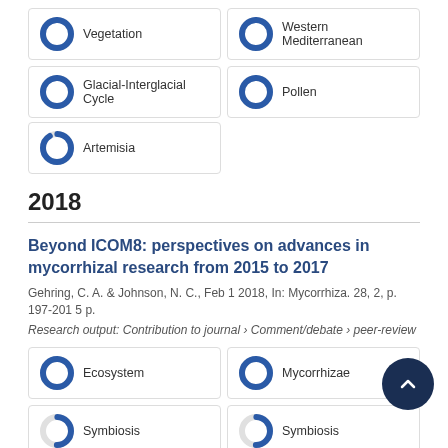Vegetation
Western Mediterranean
Glacial-Interglacial Cycle
Pollen
Artemisia
2018
Beyond ICOM8: perspectives on advances in mycorrhizal research from 2015 to 2017
Gehring, C. A. & Johnson, N. C., Feb 1 2018, In: Mycorrhiza. 28, 2, p. 197-201 5 p.
Research output: Contribution to journal › Comment/debate › peer-review
Ecosystem
Mycorrhizae
Symbiosis
Symbiosis
Scale Effect